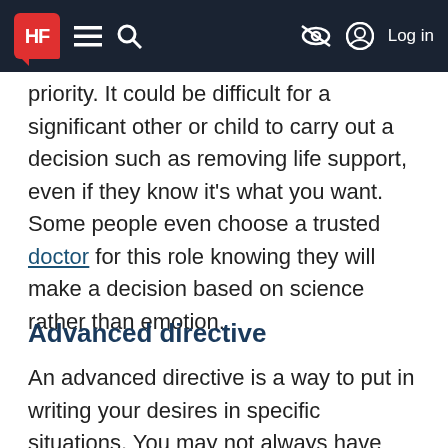HF [navigation bar with hamburger menu, search, hide icon, account icon, Log in]
priority. It could be difficult for a significant other or child to carry out a decision such as removing life support, even if they know it's what you want. Some people even choose a trusted doctor for this role knowing they will make a decision based on science rather than emotion.
Advanced directive
An advanced directive is a way to put in writing your desires in specific situations. You may not always have your medical power of